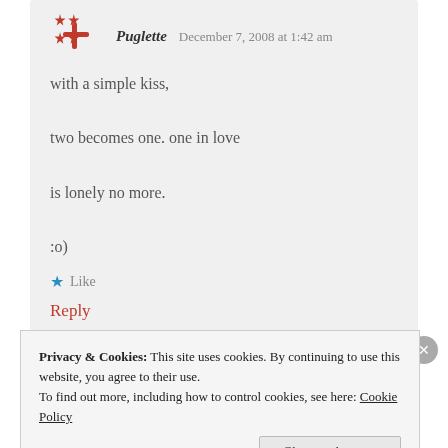Puglette — December 7, 2008 at 1:42 am
with a simple kiss,

two becomes one. one in love

is lonely no more.

:o)
★ Like
Reply
Cesar — December 7, 2008 at 8:32 pm
Privacy & Cookies: This site uses cookies. By continuing to use this website, you agree to their use.
To find out more, including how to control cookies, see here: Cookie Policy
Close and accept